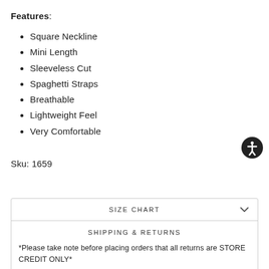Features:
Square Neckline
Mini Length
Sleeveless Cut
Spaghetti Straps
Breathable
Lightweight Feel
Very Comfortable
Sku: 1659
SIZE CHART
SHIPPING & RETURNS
*Please take note before placing orders that all returns are STORE CREDIT ONLY*